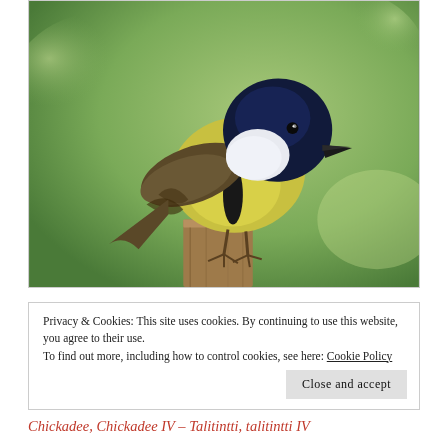[Figure (photo): A great tit bird with black head, white cheek patch, yellow and black breast, perched on a wooden post stump against a blurred green background.]
Privacy & Cookies: This site uses cookies. By continuing to use this website, you agree to their use.
To find out more, including how to control cookies, see here: Cookie Policy
Close and accept
Chickadee, Chickadee IV – Talitintti, talitintti IV